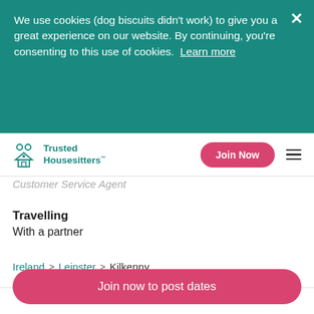We use cookies (dog biscuits didn't work) to give you a great experience on our website. By continuing, you're consenting to this use of cookies.  Learn more
Trusted Housesitters
Customer Service Agent
Travelling
With a partner
Ireland > Leinster > Kilkenny
Join now to post dates